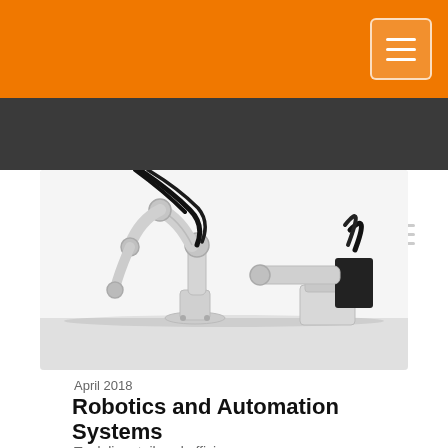[Figure (photo): Orange navigation bar with hamburger menu button at top right]
[Figure (photo): Dark grey secondary navigation bar with hamburger menu button at top right]
[Figure (photo): Robotic arm and SCARA robot on white surface - industrial automation equipment]
April 2018
Robotics and Automation Systems
To deliver tailored efficiency
Automation
Energy Efficiency
View all supplier's articles